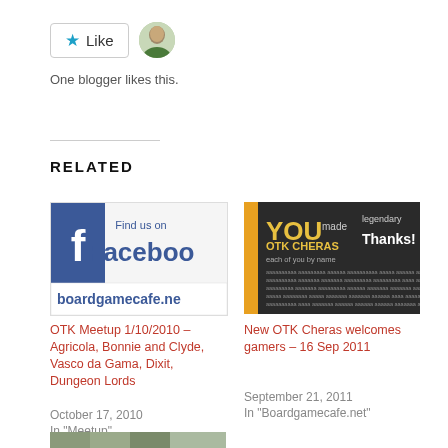[Figure (other): Like button with star icon and avatar photo of a person]
One blogger likes this.
RELATED
[Figure (screenshot): Facebook 'Find us on Facebook' image with boardgamecafe.net URL]
OTK Meetup 1/10/2010 – Agricola, Bonnie and Clyde, Vasco da Gama, Dixit, Dungeon Lords
October 17, 2010
In "Meetup"
[Figure (screenshot): Dark themed image with text: YOU made OTK CHERAS legendary Thanks! each of you by name]
New OTK Cheras welcomes gamers – 16 Sep 2011
September 21, 2011
In "Boardgamecafe.net"
[Figure (photo): Partial photo at bottom showing people]